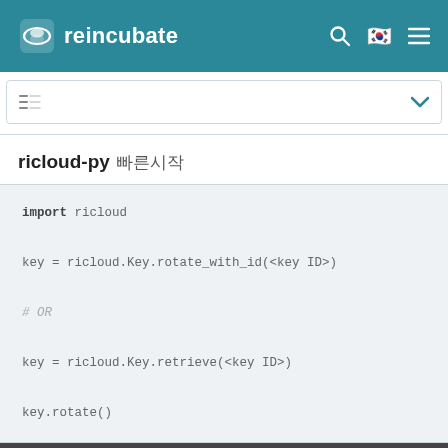reincubate
ricloud-py 빠른시작
import ricloud

key = ricloud.Key.rotate_with_id(<key ID>)

# OR

key = ricloud.Key.retrieve(<key ID>)

key.rotate()